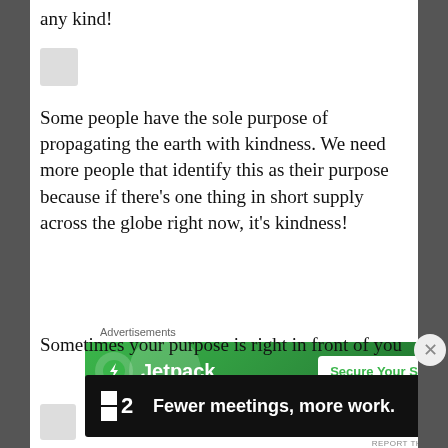any kind!
[Figure (other): Small grey placeholder image/icon]
Some people have the sole purpose of propagating the earth with kindness. We need more people that identify this as their purpose because if there’s one thing in short supply across the globe right now, it’s kindness!
Advertisements
[Figure (other): Jetpack advertisement banner: green background with Jetpack logo and 'Secure Your Site' button]
REPORT THIS AD
[Figure (other): Small grey placeholder image/icon]
Sometimes your purpose is right in front of you
Advertisements
[Figure (other): M2 advertisement: black background with logo and text 'Fewer meetings, more work.']
REPORT THIS AD